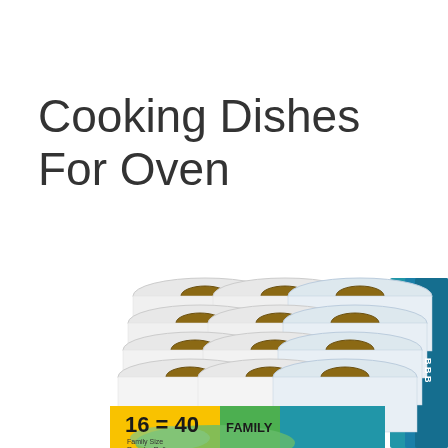Cooking Dishes For Oven
[Figure (photo): A large bulk pack of paper towel rolls (Bounty brand) showing multiple rolls stacked together. The packaging reads '16 = 40 FAMILY' with green, yellow and blue branding colors visible at the bottom.]